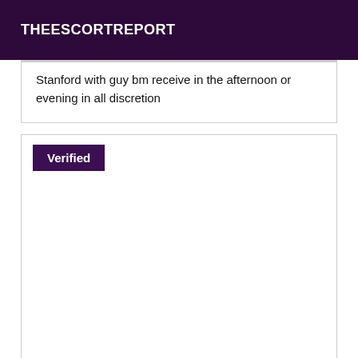THEESCORTREPORT
Stanford with guy bm receive in the afternoon or evening in all discretion
Verified